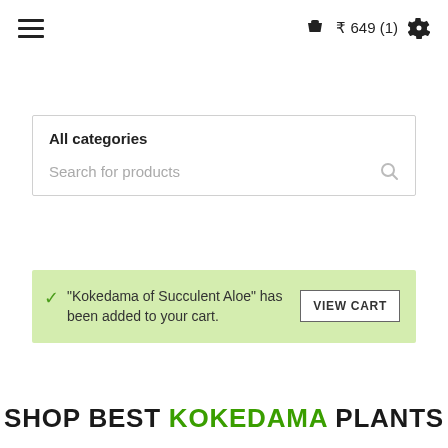≡   🛍 ₹ 649 (1)   ⚙
All categories
Search for products
"Kokedama of Succulent Aloe" has been added to your cart.   VIEW CART
SHOP BEST KOKEDAMA PLANTS